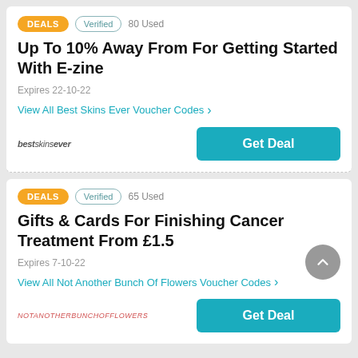DEALS · Verified · 80 Used
Up To 10% Away From For Getting Started With E-zine
Expires 22-10-22
View All Best Skins Ever Voucher Codes >
bestskinsever | Get Deal
DEALS · Verified · 65 Used
Gifts & Cards For Finishing Cancer Treatment From £1.5
Expires 7-10-22
View All Not Another Bunch Of Flowers Voucher Codes >
notanotherbunchofflowers | Get Deal